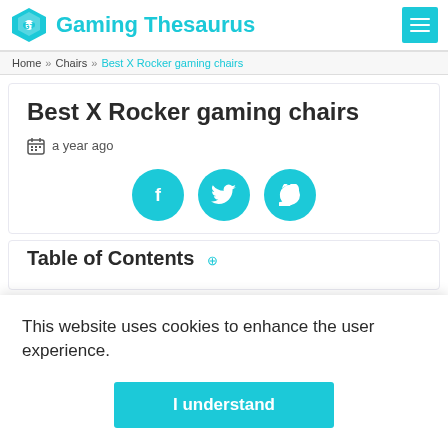Gaming Thesaurus
Home » Chairs » Best X Rocker gaming chairs
Best X Rocker gaming chairs
a year ago
[Figure (illustration): Three cyan social media share buttons: Facebook, Twitter, Pinterest]
Table of Contents
This website uses cookies to enhance the user experience.
I understand